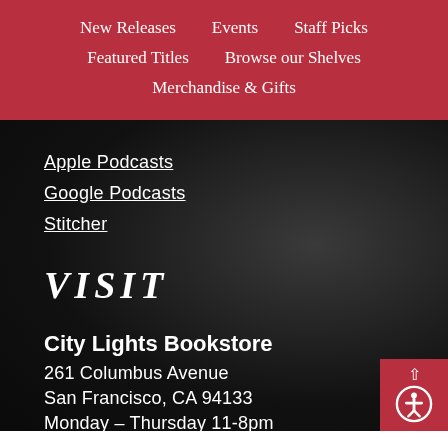New Releases | Events | Staff Picks | Featured Titles | Browse our Shelves | Merchandise & Gifts
Apple Podcasts
Google Podcasts
Stitcher
VISIT
City Lights Bookstore
261 Columbus Avenue
San Francisco, CA 94133
Monday – Thursday 11-8pm
Friday – Sunday 11-9pm.